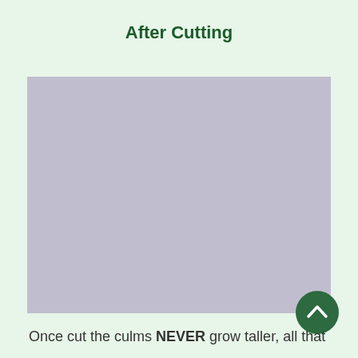After Cutting
[Figure (photo): Placeholder image (bluish-grey rectangle) representing a photo taken after cutting bamboo culms]
Once cut the culms NEVER grow taller, all that